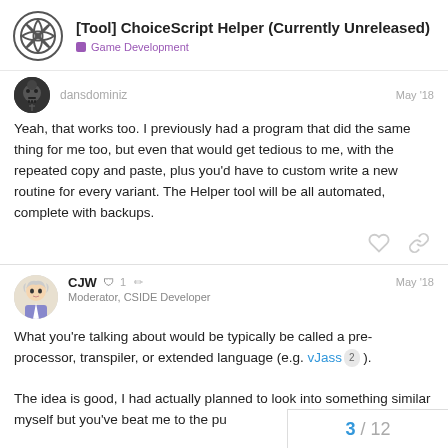[Tool] ChoiceScript Helper (Currently Unreleased) — Game Development
Yeah, that works too. I previously had a program that did the same thing for me too, but even that would get tedious to me, with the repeated copy and paste, plus you'd have to custom write a new routine for every variant. The Helper tool will be all automated, complete with backups.
CJW  Moderator, CSIDE Developer   1  May '18
What you're talking about would be typically be called a pre-processor, transpiler, or extended language (e.g. vJass 2 ).
The idea is good, I had actually planned to look into something similar myself but you've beat me to the pu
3 / 12